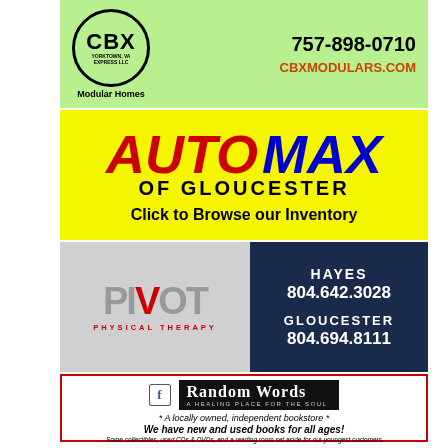[Figure (logo): CBX Yorktown VA Express LLC Modular Homes ad with green background, phone 757-898-0710 and website CBXMODULARS.COM]
[Figure (logo): AUTO MAX OF GLOUCESTER ad on yellow background with red AUTO and blue MAX text, Click to Browse our Inventory]
[Figure (logo): PIVOT Physical Therapy ad, left gray panel with red V logo, right dark navy panel with Hayes 804.642.3028 and Gloucester 804.694.8111]
[Figure (logo): Random Words bookstore ad with red border, black logo box, tagline A locally owned independent bookstore, We have new and used books for all ages!, hours Mon-Sat 9-6 Sun 11-5, phone 804-761-4859, White Marsh Shopping Center address]
[Figure (photo): THERESA Realtor Associate Broker Cell 804-815-8495 tashberry@century21nachman.com 5193 GWM Hayes VA 23072]